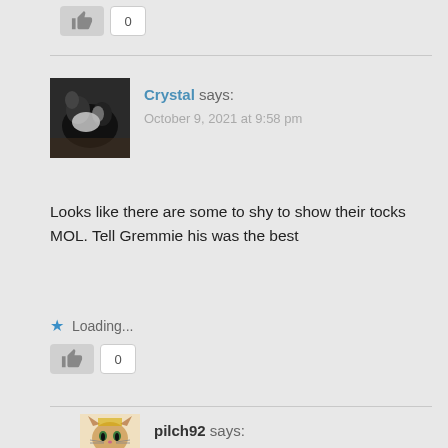[Figure (other): Like button with count 0 at top of page]
[Figure (photo): Avatar photo of a black and white cat for user Crystal]
Crystal says:
October 9, 2021 at 9:58 pm
Looks like there are some to shy to show their tocks MOL. Tell Gremmie his was the best
Loading...
[Figure (other): Like button with count 0]
[Figure (illustration): Avatar illustration of a cat character for user pilch92]
pilch92 says: